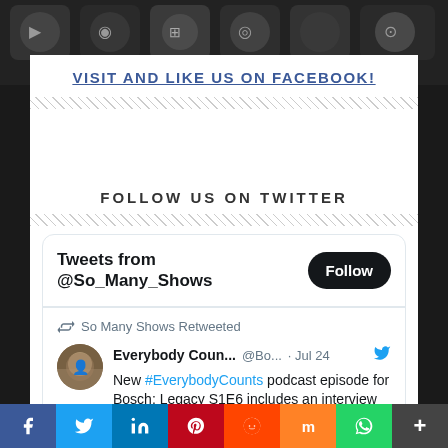VISIT AND LIKE US ON FACEBOOK!
FOLLOW US ON TWITTER
[Figure (screenshot): Twitter widget showing tweets from @So_Many_Shows with a Follow button and a retweet from Everybody Counts (@Bo...) dated Jul 24 about #EverybodyCounts podcast episode for Bosch: Legacy S1E6]
f  t  in  P  r  m  W  +